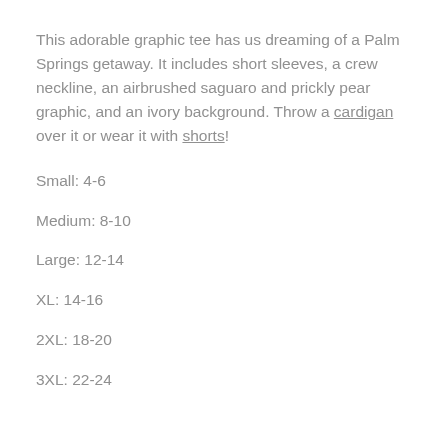This adorable graphic tee has us dreaming of a Palm Springs getaway. It includes short sleeves, a crew neckline, an airbrushed saguaro and prickly pear graphic, and an ivory background. Throw a cardigan over it or wear it with shorts!
Small: 4-6
Medium: 8-10
Large: 12-14
XL: 14-16
2XL: 18-20
3XL: 22-24